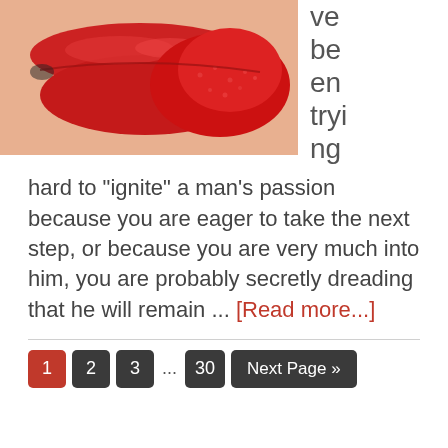[Figure (photo): Close-up photo of red lips with tongue, red lipstick, skin tone visible]
ve be en trying hard to "ignite" a man's passion because you are eager to take the next step, or because you are very much into him, you are probably secretly dreading that he will remain ... [Read more...]
1 2 3 ... 30 Next Page »